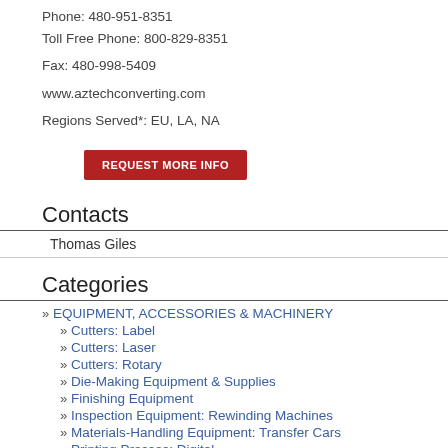Phone: 480-951-8351
Toll Free Phone: 800-829-8351
Fax: 480-998-5409
www.aztechconverting.com
Regions Served*: EU, LA, NA
REQUEST MORE INFO
Contacts
Thomas Giles
Categories
» EQUIPMENT, ACCESSORIES & MACHINERY
» Cutters: Label
» Cutters: Laser
» Cutters: Rotary
» Die-Making Equipment & Supplies
» Finishing Equipment
» Inspection Equipment: Rewinding Machines
» Materials-Handling Equipment: Transfer Cars
» Printing Presses: Digital